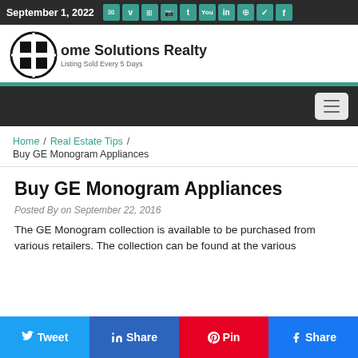September 1, 2022
[Figure (logo): Home Solutions Realty logo with globe icon and tagline 'Listing Sold Every 5 Days']
Home Solutions Realty
Listing Sold Every 5 Days
Navigation menu (hamburger button)
Home / Real Estate Tips / Buy GE Monogram Appliances
Buy GE Monogram Appliances
Posted By on September 22, 2016
The GE Monogram collection is available to be purchased from various retailers. The collection can be found at the various...